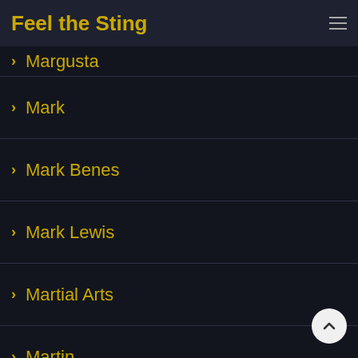Feel the Sting
Margusta
Mark
Mark Benes
Mark Lewis
Martial Arts
Martin
Martin Beckett
Martin Dvorak
Martinet
Matt Mills
Matt Steel
Max Duggan